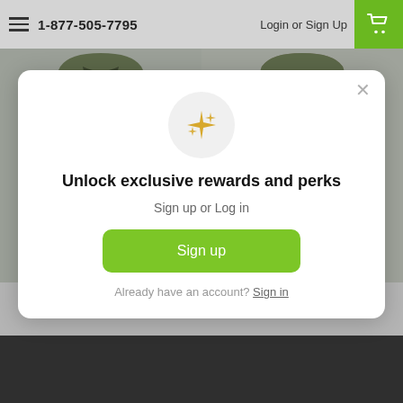1-877-505-7795   Login or Sign Up
[Figure (photo): Two camouflage military-style jackets/shirts displayed side by side on a light gray background. Left: full camo jacket with pockets. Right: camo combat shirt with olive/tan body.]
Unlock exclusive rewards and perks
Sign up or Log in
Sign up
Already have an account? Sign in